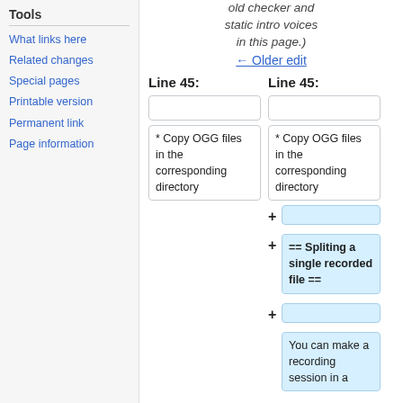Tools
What links here
Related changes
Special pages
Printable version
Permanent link
Page information
old checker and static intro voices in this page.)
← Older edit
Line 45:
Line 45:
* Copy OGG files in the corresponding directory
* Copy OGG files in the corresponding directory
== Spliting a single recorded file ==
You can make a recording session in a